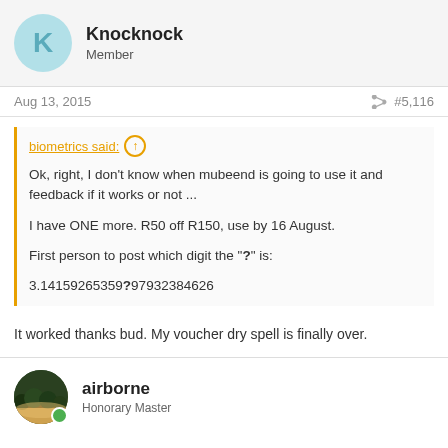Knocknock
Member
Aug 13, 2015   #5,116
biometrics said: ↑

Ok, right, I don't know when mubeend is going to use it and feedback if it works or not ...

I have ONE more. R50 off R150, use by 16 August.

First person to post which digit the "?" is:

3.14159265359797932384626
It worked thanks bud. My voucher dry spell is finally over.
airborne
Honorary Master